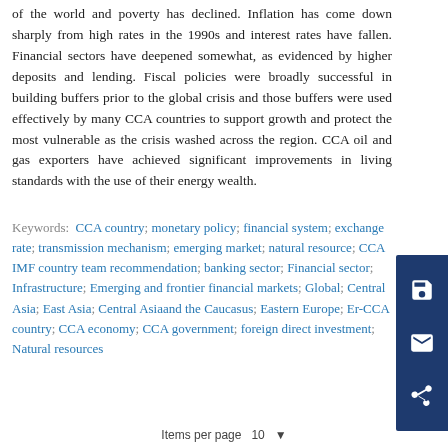of the world and poverty has declined. Inflation has come down sharply from high rates in the 1990s and interest rates have fallen. Financial sectors have deepened somewhat, as evidenced by higher deposits and lending. Fiscal policies were broadly successful in building buffers prior to the global crisis and those buffers were used effectively by many CCA countries to support growth and protect the most vulnerable as the crisis washed across the region. CCA oil and gas exporters have achieved significant improvements in living standards with the use of their energy wealth.
Keywords: CCA country; monetary policy; financial system; exchange rate; transmission mechanism; emerging market; natural resource; CCA IMF country team recommendation; banking sector; Financial sector; Infrastructure; Emerging and frontier financial markets; Global; Central Asia; East Asia; Central Asia and the Caucasus; Eastern Europe; Er-CCA country; CCA economy; CCA government; foreign direct investment; Natural resources
Items per page  10